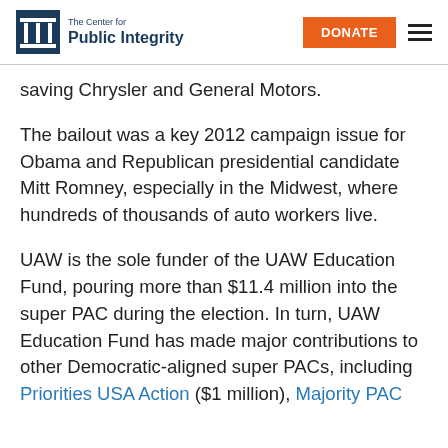The Center for Public Integrity | DONATE
saving Chrysler and General Motors.
The bailout was a key 2012 campaign issue for Obama and Republican presidential candidate Mitt Romney, especially in the Midwest, where hundreds of thousands of auto workers live.
UAW is the sole funder of the UAW Education Fund, pouring more than $11.4 million into the super PAC during the election. In turn, UAW Education Fund has made major contributions to other Democratic-aligned super PACs, including Priorities USA Action ($1 million), Majority PAC